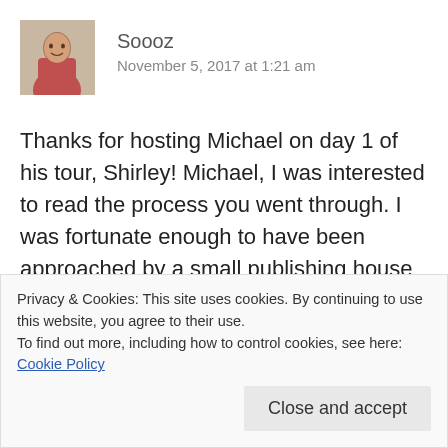[Figure (photo): Small avatar/profile photo of a person]
Soooz
November 5, 2017 at 1:21 am
Thanks for hosting Michael on day 1 of his tour, Shirley! Michael, I was interested to read the process you went through. I was fortunate enough to have been approached by a small publishing house when I first wrote and enquired online about my #memoir. The supported me superbly in the initial months after publication, so I was rather dismayed when they closed their doors with little warning to their small
Privacy & Cookies: This site uses cookies. By continuing to use this website, you agree to their use.
To find out more, including how to control cookies, see here: Cookie Policy
Close and accept